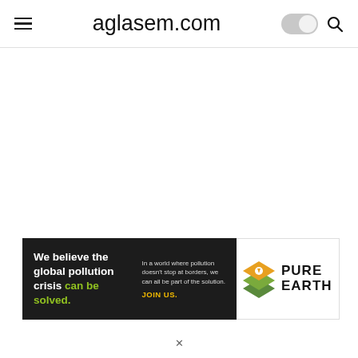aglasem.com
[Figure (screenshot): Navigation bar for aglasem.com website with hamburger menu on left, site title in center, dark mode toggle and search icon on right]